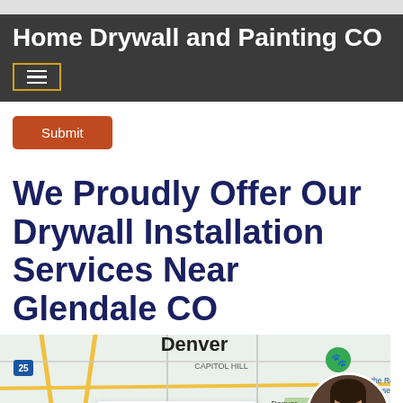Home Drywall and Painting CO
[Figure (screenshot): Menu hamburger button with yellow border on dark background]
[Figure (other): Orange Submit button]
We Proudly Offer Our Drywall Installation Services Near Glendale CO
[Figure (map): Google map showing Denver area including Capitol Hill, Glendale, Wings Over the Rockies Air & Space Museum, with a chat bubble overlay saying 'How may help you?' and a woman avatar photo]